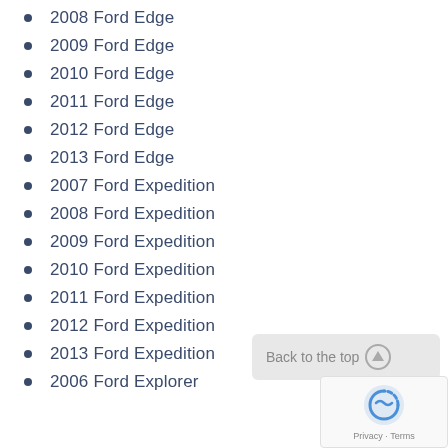2008 Ford Edge
2009 Ford Edge
2010 Ford Edge
2011 Ford Edge
2012 Ford Edge
2013 Ford Edge
2007 Ford Expedition
2008 Ford Expedition
2009 Ford Expedition
2010 Ford Expedition
2011 Ford Expedition
2012 Ford Expedition
2013 Ford Expedition
2006 Ford Explorer